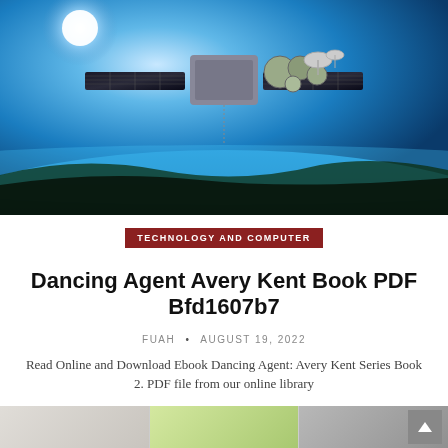[Figure (photo): Satellite orbiting above Earth with solar panels and multiple sensors/instruments, against a blue sky and Earth's surface visible below]
TECHNOLOGY AND COMPUTER
Dancing Agent Avery Kent Book PDF Bfd1607b7
FUAH • AUGUST 19, 2022
Read Online and Download Ebook Dancing Agent: Avery Kent Series Book 2. PDF file from our online library
CONTINUE READING...
[Figure (photo): Bottom strip showing three partial thumbnail images]